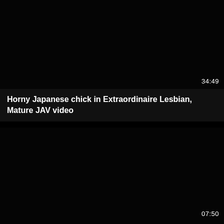[Figure (screenshot): Dark/black video thumbnail placeholder for top video]
34:49
Horny Japanese chick in Extraordinaire Lesbian, Mature JAV video
[Figure (screenshot): Dark/black video thumbnail placeholder for bottom video]
07:50